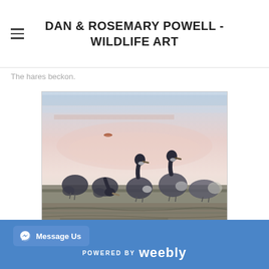DAN & ROSEMARY POWELL - WILDLIFE ART
The hares beckon.
[Figure (illustration): Watercolor painting of Canada geese standing on a shoreline at dusk, with a soft pink and blue sky in the background and a single bird flying in the distance.]
POWERED BY weebly